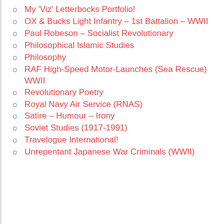My 'Viz' Letterbocks Portfolio!
OX & Bucks Light Infantry – 1st Battalion – WWII
Paul Robeson – Socialist Revolutionary
Philosophical Islamic Studies
Philosophy
RAF High-Speed Motor-Launches (Sea Rescue) WWII
Revolutionary Poetry
Royal Navy Air Service (RNAS)
Satire – Humour – Irony
Soviet Studies (1917-1991)
Travelogue International!
Unrepentant Japanese War Criminals (WWII)